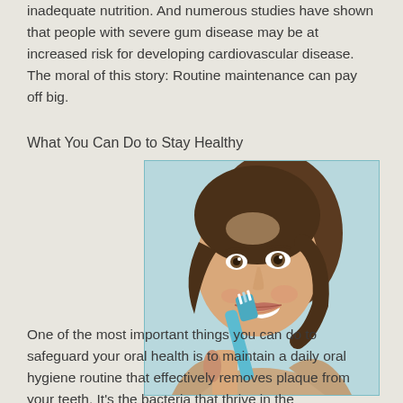inadequate nutrition. And numerous studies have shown that people with severe gum disease may be at increased risk for developing cardiovascular disease. The moral of this story: Routine maintenance can pay off big.
What You Can Do to Stay Healthy
[Figure (photo): A smiling woman brushing her teeth with a blue toothbrush, close-up portrait against a light blue-green background.]
One of the most important things you can do to safeguard your oral health is to maintain a daily oral hygiene routine that effectively removes plaque from your teeth. It's the bacteria that thrive in the